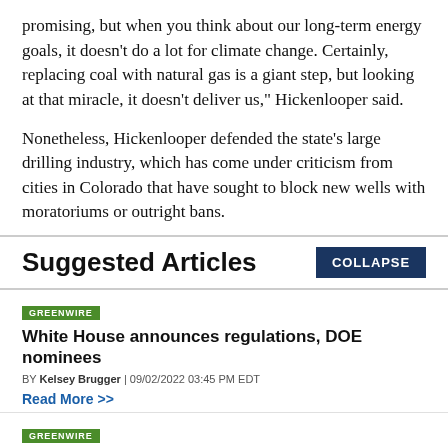promising, but when you think about our long-term energy goals, it doesn't do a lot for climate change. Certainly, replacing coal with natural gas is a giant step, but looking at that miracle, it doesn't deliver us," Hickenlooper said.
Nonetheless, Hickenlooper defended the state's large drilling industry, which has come under criticism from cities in Colorado that have sought to block new wells with moratoriums or outright bans.
Suggested Articles
GREENWIRE
White House announces regulations, DOE nominees
BY Kelsey Brugger | 09/02/2022 03:45 PM EDT
Read More >>
GREENWIRE
Murkowski, GOP challenger clash over Haaland, drilling,